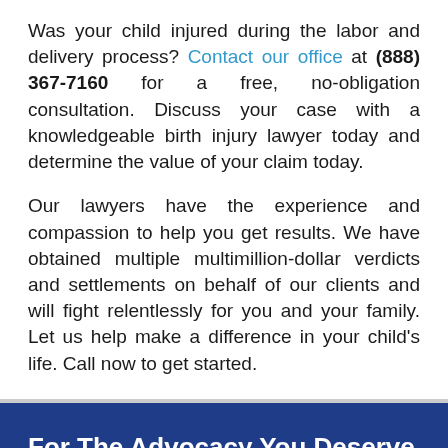Was your child injured during the labor and delivery process? Contact our office at (888) 367-7160 for a free, no-obligation consultation. Discuss your case with a knowledgeable birth injury lawyer today and determine the value of your claim today.
Our lawyers have the experience and compassion to help you get results. We have obtained multiple multimillion-dollar verdicts and settlements on behalf of our clients and will fight relentlessly for you and your family. Let us help make a difference in your child's life. Call now to get started.
For The Advocacy You Deserve Contact Us Today!
We'll respond and let you know the best way to